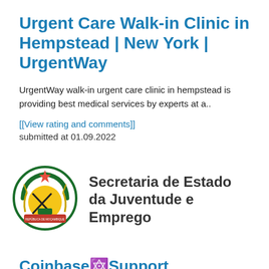Urgent Care Walk-in Clinic in Hempstead | New York | UrgentWay
UrgentWay walk-in urgent care clinic in hempstead is providing best medical services by experts at a..
[[View rating and comments]]
submitted at 01.09.2022
[Figure (logo): Coat of arms / emblem logo of Secretaria de Estado da Juventude e Emprego, Mozambique government seal with red star, wheat, gears, AK-47, book and rising sun in green, yellow, black and red colors]
Coinbase🔯Support꜀ Number@+18.05.2 91-49.96꜀ Contact